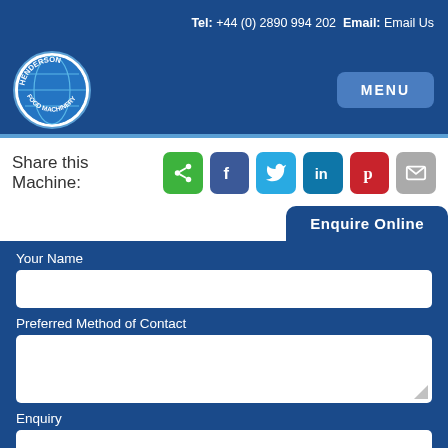Tel: +44 (0) 2890 994 202  Email: Email Us
[Figure (logo): Henderson Food Machinery circular logo with globe graphic]
MENU
Share this Machine:
[Figure (infographic): Social share icons: share (green), Facebook (blue), Twitter (cyan), LinkedIn (blue), Pinterest (red), email (grey)]
Enquire Online
Your Name
Preferred Method of Contact
Enquiry
Select Language  Powered by Google